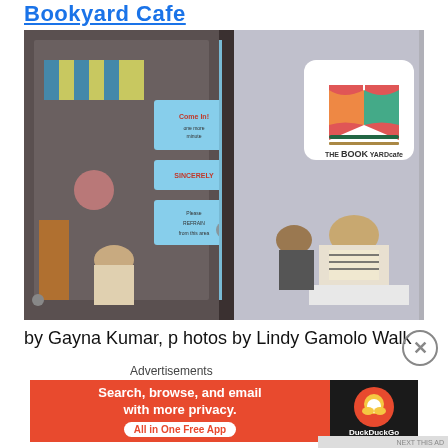Bookyard Cafe
[Figure (photo): Exterior photo of The Book Yard Cafe showing glass doors with posted signs including 'Come In!' and 'Sincerely' notices, a colorful book logo on the right side reading 'THE BOOK YARD CAFE', and people visible through the glass windows inside.]
by Gayna Kumar, p hotos by Lindy Gamolo Walk
Advertisements
[Figure (screenshot): DuckDuckGo advertisement banner with orange background. Left side reads 'Search, browse, and email with more privacy. All in One Free App' with white pill button. Right side shows DuckDuckGo duck logo on dark background with 'DuckDuckGo' text.]